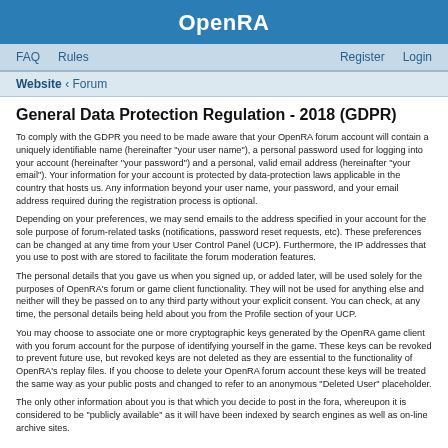OpenRA
FAQ  Rules  Register  Login
Website › Forum
General Data Protection Regulation - 2018 (GDPR)
To comply with the GDPR you need to be made aware that your OpenRA forum account will contain a uniquely identifiable name (hereinafter "your user name"), a personal password used for logging into your account (hereinafter "your password") and a personal, valid email address (hereinafter "your email"). Your information for your account is protected by data-protection laws applicable in the country that hosts us. Any information beyond your user name, your password, and your email address required during the registration process is optional.
Depending on your preferences, we may send emails to the address specified in your account for the sole purpose of forum-related tasks (notifications, password reset requests, etc). These preferences can be changed at any time from your User Control Panel (UCP). Furthermore, the IP addresses that you use to post with are stored to facilitate the forum moderation features.
The personal details that you gave us when you signed up, or added later, will be used solely for the purposes of OpenRA's forum or game client functionality. They will not be used for anything else and neither will they be passed on to any third party without your explicit consent. You can check, at any time, the personal details being held about you from the Profile section of your UCP.
You may choose to associate one or more cryptographic keys generated by the OpenRA game client with you forum account for the purpose of identifying yourself in the game. These keys can be revoked to prevent future use, but revoked keys are not deleted as they are essential to the functionality of OpenRA's replay files. If you choose to delete your OpenRA forum account these keys will be treated the same way as your public posts and changed to refer to an anonymous "Deleted User" placeholder.
The only other information about you is that which you decide to post in the fora, whereupon it is considered to be "publicly available" as it will have been indexed by search engines as well as on-line archive sites.